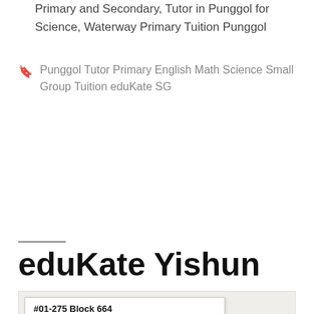Primary and Secondary, Tutor in Punggol for Science, Waterway Primary Tuition Punggol
Punggol Tutor Primary English Math Science Small Group Tuition eduKate SG
Older posts
eduKate Yishun
#01-275 Block 664
View larger map